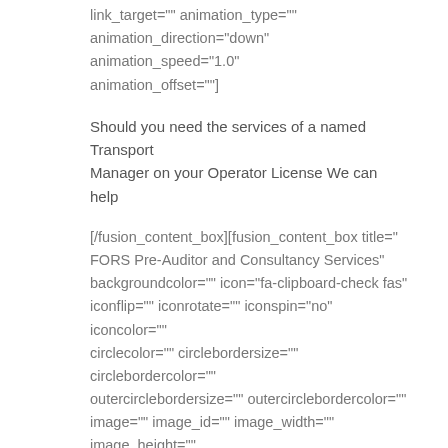link_target="" animation_type="" animation_direction="down" animation_speed="1.0" animation_offset=""]
Should you need the services of a named Transport Manager on your Operator License We can help
[/fusion_content_box][fusion_content_box title="FORS Pre-Auditor and Consultancy Services" backgroundcolor="" icon="fa-clipboard-check fas" iconflip="" iconrotate="" iconspin="no" iconcolor="" circlecolor="" circlebordersize="" circlebordercolor="" outercirclebordersize="" outercirclebordercolor="" image="" image_id="" image_width="" image_height="" link="https://www.angliacompliance.co.uk/home/fors-compliance-and-consultancy-services/" linktext="Read More" link_target="" animation_type="" animation_direction="down" animation_speed="1.0" animation_offset=""]